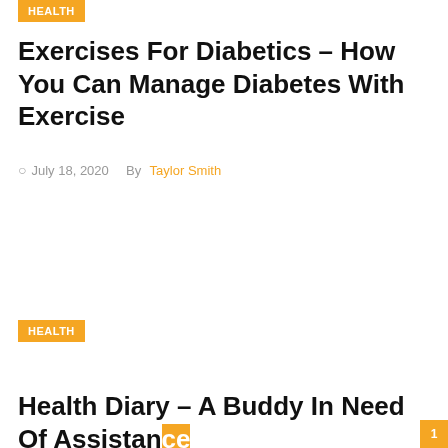HEALTH
Exercises For Diabetics – How You Can Manage Diabetes With Exercise
July 18, 2020   By Taylor Smith
HEALTH
Health Diary – A Buddy In Need Of Assistance